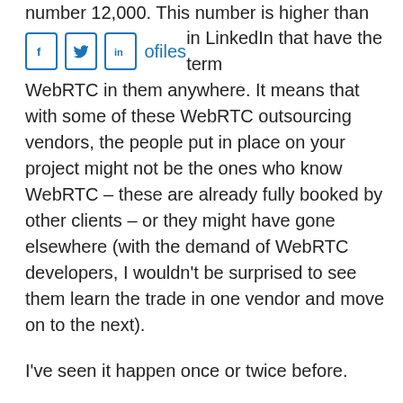number 12,000. This number is higher than the number of profiles in LinkedIn that have the term WebRTC in them anywhere. It means that with some of these WebRTC outsourcing vendors, the people put in place on your project might not be the ones who know WebRTC – these are already fully booked by other clients – or they might have gone elsewhere (with the demand of WebRTC developers, I wouldn't be surprised to see them learn the trade in one vendor and move on to the next).
I've seen it happen once or twice before.
So make sure that not only does the vendor knows WebRTC well – he is also placing the right people